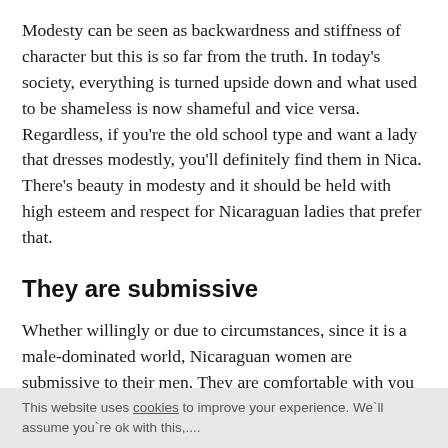Modesty can be seen as backwardness and stiffness of character but this is so far from the truth. In today's society, everything is turned upside down and what used to be shameless is now shameful and vice versa. Regardless, if you're the old school type and want a lady that dresses modestly, you'll definitely find them in Nica. There's beauty in modesty and it should be held with high esteem and respect for Nicaraguan ladies that prefer that.
They are submissive
Whether willingly or due to circumstances, since it is a male-dominated world, Nicaraguan women are submissive to their men. They are comfortable with you rowing the boat and will support your vision and dreams. The best part is, you can get both halves of the pie, a lady who is submissive and at the same time independent-minded.
This website uses cookies to improve your experience. We'll assume you're ok with this,….